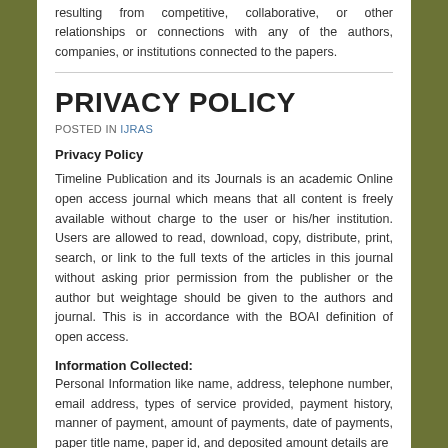resulting from competitive, collaborative, or other relationships or connections with any of the authors, companies, or institutions connected to the papers.
PRIVACY POLICY
POSTED IN IJRAS
Privacy Policy
Timeline Publication and its Journals is an academic Online open access journal which means that all content is freely available without charge to the user or his/her institution. Users are allowed to read, download, copy, distribute, print, search, or link to the full texts of the articles in this journal without asking prior permission from the publisher or the author but weightage should be given to the authors and journal. This is in accordance with the BOAI definition of open access.
Information Collected:
Personal Information like name, address, telephone number, email address, types of service provided, payment history, manner of payment, amount of payments, date of payments, paper title name, paper id, and deposited amount details are